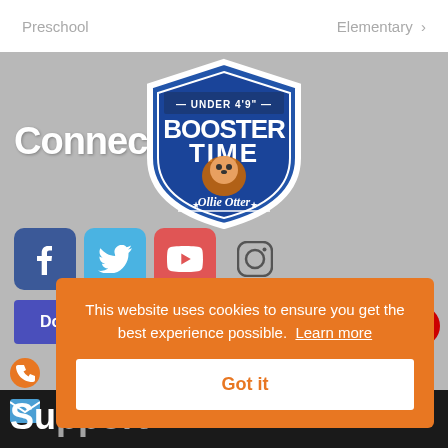Preschool    Elementary >
[Figure (logo): Booster Time Under 4'9" - Ollie Otter badge logo, blue shield shape with cartoon otter character]
Connect
[Figure (infographic): Social media icons: Facebook (blue), Twitter (light blue), YouTube (red/pink), Instagram (outline). Donate and Calendar purple buttons. Right side social circles: Instagram (black), Facebook (blue), Twitter (light blue), YouTube (red).]
This website uses cookies to ensure you get the best experience possible. Learn more
Got it
Su...